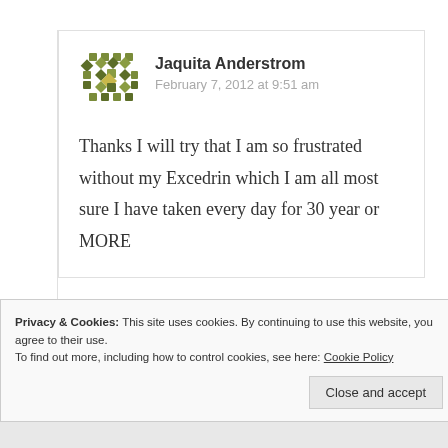[Figure (illustration): Gravatar-style avatar icon made of green diamond/square pattern]
Jaquita Anderstrom
February 7, 2012 at 9:51 am
Thanks I will try that I am so frustrated without my Excedrin which I am all most sure I have taken every day for 30 year or MORE
Privacy & Cookies: This site uses cookies. By continuing to use this website, you agree to their use.
To find out more, including how to control cookies, see here: Cookie Policy